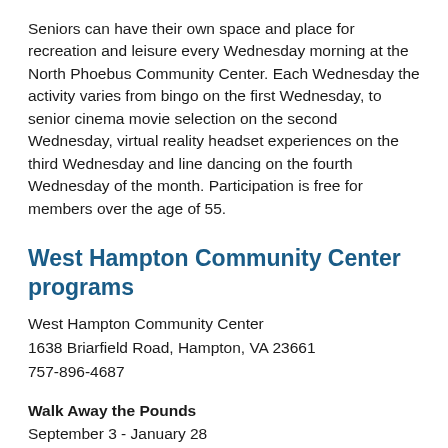Seniors can have their own space and place for recreation and leisure every Wednesday morning at the North Phoebus Community Center. Each Wednesday the activity varies from bingo on the first Wednesday, to senior cinema movie selection on the second Wednesday, virtual reality headset experiences on the third Wednesday and line dancing on the fourth Wednesday of the month. Participation is free for members over the age of 55.
West Hampton Community Center programs
West Hampton Community Center
1638 Briarfield Road, Hampton, VA 23661
757-896-4687
Walk Away the Pounds
September 3 - January 28
Monday, Wednesday & Friday, 5:45 p.m. - 6:45 p.m.
Aerobic exercise with low-impact moves...